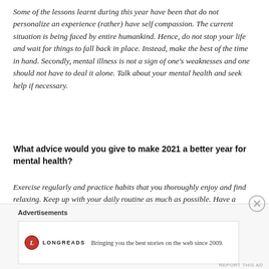Some of the lessons learnt during this year have been that do not personalize an experience (rather) have self compassion. The current situation is being faced by entire humankind. Hence, do not stop your life and wait for things to fall back in place. Instead, make the best of the time in hand. Secondly, mental illness is not a sign of one's weaknesses and one should not have to deal it alone. Talk about your mental health and seek help if necessary.
What advice would you give to make 2021 a better year for mental health?
Exercise regularly and practice habits that you thoroughly enjoy and find relaxing. Keep up with your daily routine as much as possible. Have a schedule. Shift your current narrative, focus on the positive. Seek credible information and help when necessary. It is also important to stay connected with your family and friends always.
Advertisements
[Figure (other): Longreads advertisement banner with circular red logo and text: Bringing you the best stories on the web since 2009.]